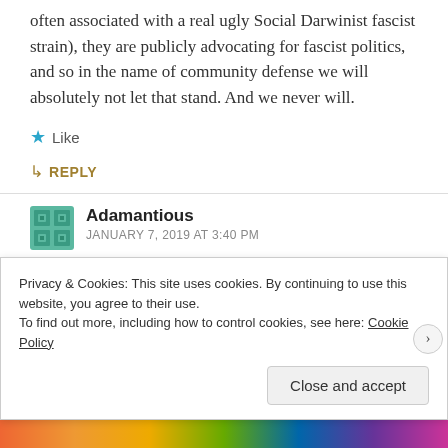often associated with a real ugly Social Darwinist fascist strain), they are publicly advocating for fascist politics, and so in the name of community defense we will absolutely not let that stand. And we never will.
★ Like
↳ REPLY
Adamantious
JANUARY 7, 2019 AT 3:40 PM
Except this premise don't fit into fascist standards. As
Privacy & Cookies: This site uses cookies. By continuing to use this website, you agree to their use.
To find out more, including how to control cookies, see here: Cookie Policy
Close and accept